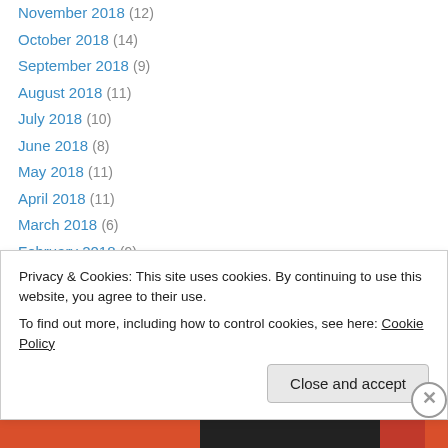November 2018 (12)
October 2018 (14)
September 2018 (9)
August 2018 (11)
July 2018 (10)
June 2018 (8)
May 2018 (11)
April 2018 (11)
March 2018 (6)
February 2018 (9)
January 2018 (10)
December 2017 (10)
November 2017 (9)
Privacy & Cookies: This site uses cookies. By continuing to use this website, you agree to their use.
To find out more, including how to control cookies, see here: Cookie Policy
Close and accept